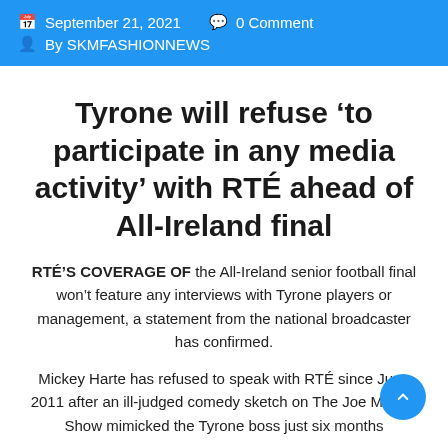September 21, 2021   0 Comment   By SKMFASHIONNEWS
Tyrone will refuse ‘to participate in any media activity’ with RTÉ ahead of All-Ireland final
RTÉ’S COVERAGE OF the All-Ireland senior football final won’t feature any interviews with Tyrone players or management, a statement from the national broadcaster has confirmed.
Mickey Harte has refused to speak with RTÉ since June 2011 after an ill-judged comedy sketch on The ... Murray Show mimicked the Tyrone boss just six months